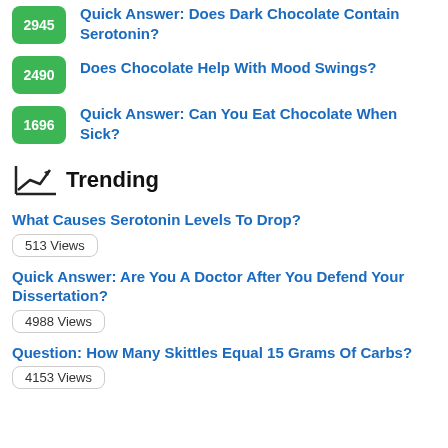2945 Quick Answer: Does Dark Chocolate Contain Serotonin?
2490 Does Chocolate Help With Mood Swings?
1696 Quick Answer: Can You Eat Chocolate When Sick?
Trending
What Causes Serotonin Levels To Drop? 513 Views
Quick Answer: Are You A Doctor After You Defend Your Dissertation? 4988 Views
Question: How Many Skittles Equal 15 Grams Of Carbs? 4153 Views